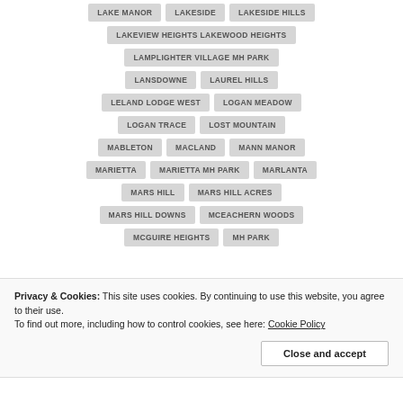LAKE MANOR
LAKESIDE
LAKESIDE HILLS
LAKEVIEW HEIGHTS LAKEWOOD HEIGHTS
LAMPLIGHTER VILLAGE MH PARK
LANSDOWNE
LAUREL HILLS
LELAND LODGE WEST
LOGAN MEADOW
LOGAN TRACE
LOST MOUNTAIN
MABLETON
MACLAND
MANN MANOR
MARIETTA
MARIETTA MH PARK
MARLANTA
MARS HILL
MARS HILL ACRES
MARS HILL DOWNS
MCEACHERN WOODS
MCGUIRE HEIGHTS
MH PARK
Privacy & Cookies: This site uses cookies. By continuing to use this website, you agree to their use. To find out more, including how to control cookies, see here: Cookie Policy